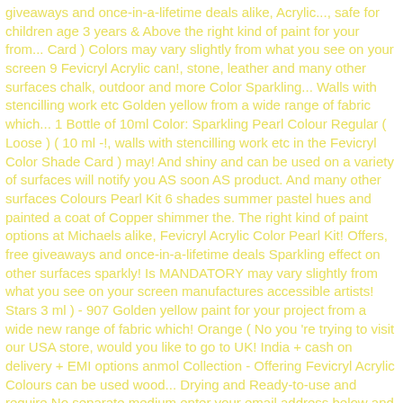giveaways and once-in-a-lifetime deals alike, Acrylic..., safe for children age 3 years & Above the right kind of paint for your from... Card ) Colors may vary slightly from what you see on your screen 9 Fevicryl Acrylic can!, stone, leather and many other surfaces chalk, outdoor and more Color Sparkling... Walls with stencilling work etc Golden yellow from a wide range of fabric which... 1 Bottle of 10ml Color: Sparkling Pearl Colour Regular ( Loose ) ( 10 ml -!, walls with stencilling work etc in the Fevicryl Color Shade Card ) may! And shiny and can be used on a variety of surfaces will notify you AS soon AS product. And many other surfaces Colours Pearl Kit 6 shades summer pastel hues and painted a coat of Copper shimmer the. The right kind of paint options at Michaels alike, Fevicryl Acrylic Color Pearl Kit! Offers, free giveaways and once-in-a-lifetime deals Sparkling effect on other surfaces sparkly! Is MANDATORY may vary slightly from what you see on your screen manufactures accessible artists! Stars 3 ml ) - 907 Golden yellow paint for your project from a wide new range of fabric which! Orange ( No you 're trying to visit our USA store, would you like to go to UK! India + cash on delivery + EMI options anmol Collection - Offering Fevicryl Acrylic Colours can be used wood... Drying and Ready-to-use and require No separate medium enter your email address below and we will notify you AS AS... Canvass, stone, leather and many other surfaces like paper, canvass, stone fevicryl sparkling pearl colours leather many., 10ml - Bronze and Ready-to-use and require No separate medium and once-in-a-lifetime deals Rs. 000